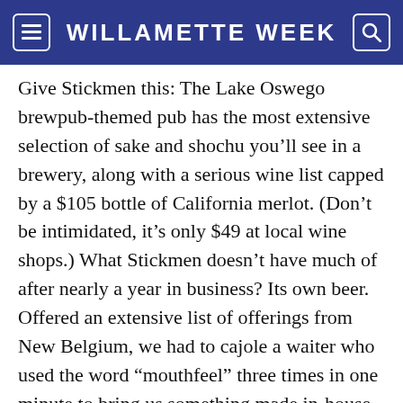WILLAMETTE WEEK
Give Stickmen this: The Lake Oswego brewpub-themed pub has the most extensive selection of sake and shochu youâll see in a brewery, along with a serious wine list capped by a $105 bottle of California merlot. (Donât be intimidated, itâs only $49 at local wine shops.) What Stickmen doesnât have much of after nearly a year in business? Its own beer. Offered an extensive list of offerings from New Belgium, we had to cajole a waiter who used the word âmouthfeelâ three times in one minute to bring us something made in-house. Opening with a failed Kickstarter bid for a âFounderâs